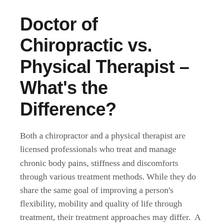Doctor of Chiropractic vs. Physical Therapist – What's the Difference?
Both a chiropractor and a physical therapist are licensed professionals who treat and manage chronic body pains, stiffness and discomforts through various treatment methods. While they do share the same goal of improving a person's flexibility, mobility and quality of life through treatment, their treatment approaches may differ.  A chiropractor can perform manipulations and adjustments …
Read More
Help for Frequent Headaches